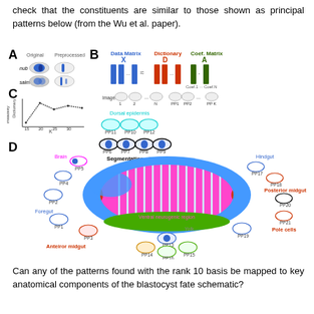check that the constituents are similar to those shown as principal patterns below (from the Wu et al. paper).
[Figure (illustration): Scientific figure showing panels A, B, C, D. Panel A: Original vs Preprocessed gene expression images for nub and salm. Panel B: Diagram of sparse coding approach with Data Matrix X, Dictionary D, and Coefficient Matrix A, showing image decomposition into principal patterns PP1-PPK. Panel C: Line graph of Dictionary instability vs K (15-30). Panel D: Anatomical diagram of Drosophila embryo with labeled principal patterns PP1-PP21 mapped to anatomical regions including Brain, Foregut, Anterior midgut, Dorsal epidermis, Segmentation stripes, Hindgut, Posterior midgut, Pole cells, Yolk, Mesoderm, Ventral neurogenic region.]
Can any of the patterns found with the rank 10 basis be mapped to key anatomical components of the blastocyst fate schematic?